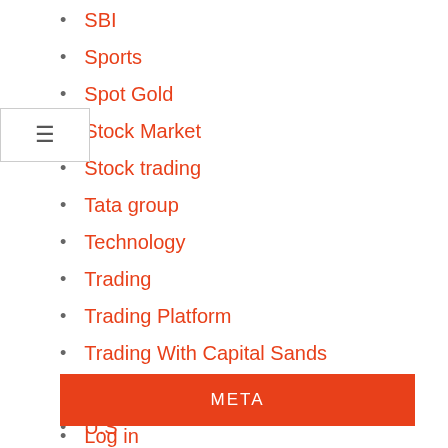SBI
Sports
Spot Gold
Stock Market
Stock trading
Tata group
Technology
Trading
Trading Platform
Trading With Capital Sands
twitter
U.S
University
Weather
WORLD NEWS
META
Log in